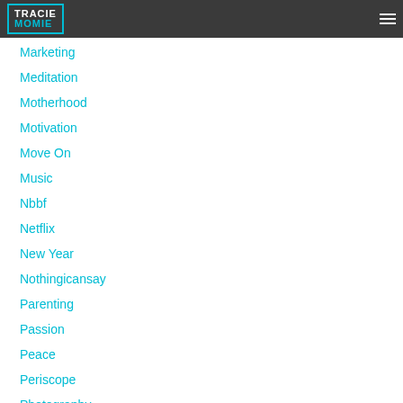TRACIE MOMIE
Marketing
Meditation
Motherhood
Motivation
Move On
Music
Nbbf
Netflix
New Year
Nothingicansay
Parenting
Passion
Peace
Periscope
Photography
Problem Solving
Procrastination